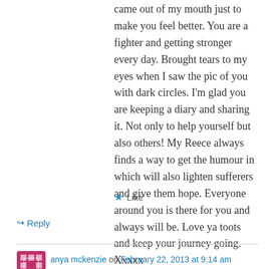came out of my mouth just to make you feel better. You are a fighter and getting stronger every day. Brought tears to my eyes when I saw the pic of you with dark circles. I'm glad you are keeping a diary and sharing it. Not only to help yourself but also others! My Reece always finds a way to get the humour in which will also lighten sufferers and give them hope. Everyone around you is there for you and always will be. Love ya toots and keep your journey going. Xxxxx
★ Like
↳ Reply
anya mckenzie on February 22, 2013 at 9:14 am
in god we trust . love you both anya xx